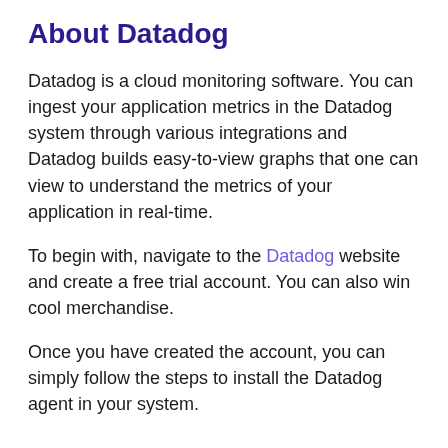About Datadog
Datadog is a cloud monitoring software. You can ingest your application metrics in the Datadog system through various integrations and Datadog builds easy-to-view graphs that one can view to understand the metrics of your application in real-time.
To begin with, navigate to the Datadog website and create a free trial account. You can also win cool merchandise.
Once you have created the account, you can simply follow the steps to install the Datadog agent in your system.